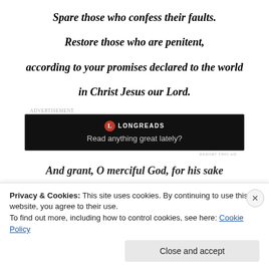Spare those who confess their faults.
Restore those who are penitent,
according to your promises declared to the world
in Christ Jesus our Lord.
[Figure (other): Longreads advertisement banner with dark background, Longreads logo and text 'Read anything great lately?']
And grant, O merciful God, for his sake
Privacy & Cookies: This site uses cookies. By continuing to use this website, you agree to their use.
To find out more, including how to control cookies, see here: Cookie Policy
Close and accept